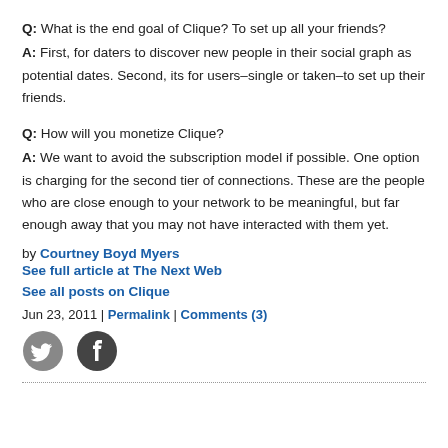Q: What is the end goal of Clique? To set up all your friends?
A: First, for daters to discover new people in their social graph as potential dates. Second, its for users–single or taken–to set up their friends.
Q: How will you monetize Clique?
A: We want to avoid the subscription model if possible. One option is charging for the second tier of connections. These are the people who are close enough to your network to be meaningful, but far enough away that you may not have interacted with them yet.
by Courtney Boyd Myers
See full article at The Next Web
See all posts on Clique
Jun 23, 2011 | Permalink | Comments (3)
[Figure (illustration): Twitter bird icon (circle) and Facebook 'f' icon (circle), social sharing buttons]